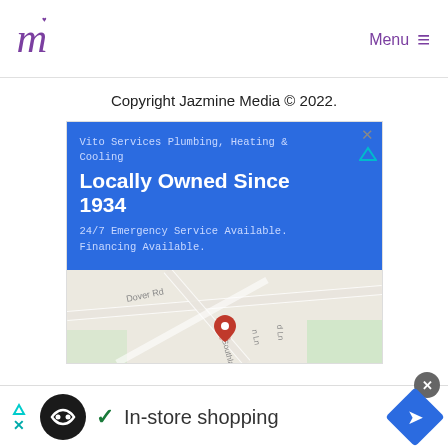[Figure (logo): Jazmine Media cursive logo mark in purple]
Menu ≡
Copyright Jazmine Media © 2022.
[Figure (screenshot): Advertisement for Vito Services Plumbing, Heating & Cooling — blue banner with text 'Locally Owned Since 1934', '24/7 Emergency Service Available. Financing Available.' and a Google Maps view with location pin]
[Figure (infographic): Bottom ad bar showing Continuity app icon, checkmark, 'In-store shopping' text, and blue diamond navigation icon with close button]